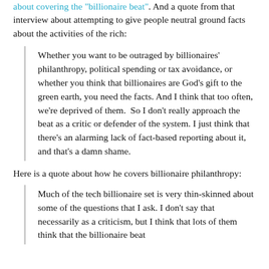about covering the "billionaire beat". And a quote from that interview about attempting to give people neutral ground facts about the activities of the rich:
Whether you want to be outraged by billionaires' philanthropy, political spending or tax avoidance, or whether you think that billionaires are God's gift to the green earth, you need the facts. And I think that too often, we're deprived of them.  So I don't really approach the beat as a critic or defender of the system. I just think that there's an alarming lack of fact-based reporting about it, and that's a damn shame.
Here is a quote about how he covers billionaire philanthropy:
Much of the tech billionaire set is very thin-skinned about some of the questions that I ask. I don't say that necessarily as a criticism, but I think that lots of them think that the billionaire beat